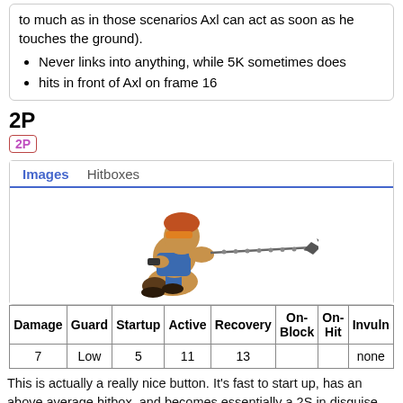to much as in those scenarios Axl can act as soon as he touches the ground).
Never links into anything, while 5K sometimes does
hits in front of Axl on frame 16
2P
2P
[Figure (screenshot): Images / Hitboxes tab panel showing a game character (Axl) performing a low attack with a chain weapon extending to the right]
| Damage | Guard | Startup | Active | Recovery | On-Block | On-Hit | Invuln |
| --- | --- | --- | --- | --- | --- | --- | --- |
| 7 | Low | 5 | 11 | 13 |  |  | none |
This is actually a really nice button. It's fast to start up, has an above average hitbox, and becomes essentially a 2S in disguise when allowed to extend fully.
The main problem with this, and other chain normals, is that the